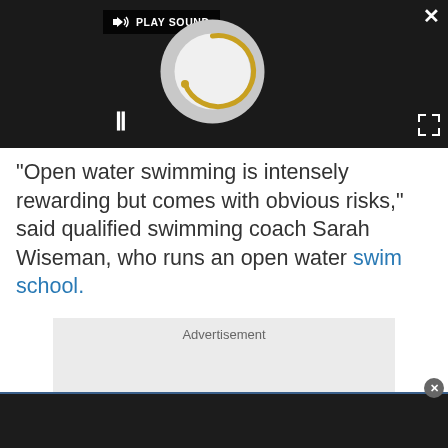[Figure (screenshot): Video player overlay with dark background, showing a loading/spinner circle graphic, a PLAY SOUND button, a pause (||) button, a close (X) button, and an expand icon.]
"Open water swimming is intensely rewarding but comes with obvious risks," said qualified swimming coach Sarah Wiseman, who runs an open water swim school.
Advertisement